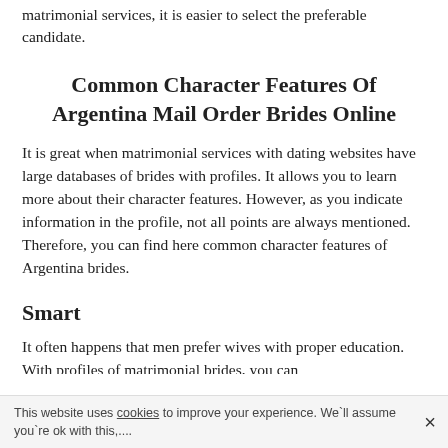matrimonial services, it is easier to select the preferable candidate.
Common Character Features Of Argentina Mail Order Brides Online
It is great when matrimonial services with dating websites have large databases of brides with profiles. It allows you to learn more about their character features. However, as you indicate information in the profile, not all points are always mentioned. Therefore, you can find here common character features of Argentina brides.
Smart
It often happens that men prefer wives with proper education. With profiles of matrimonial brides, you can...
This website uses cookies to improve your experience. We'll assume you're ok with this,....